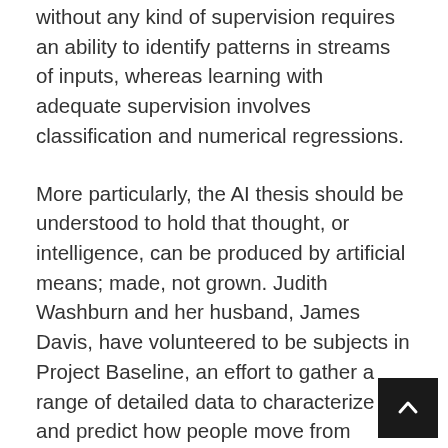without any kind of supervision requires an ability to identify patterns in streams of inputs, whereas learning with adequate supervision involves classification and numerical regressions.
More particularly, the AI thesis should be understood to hold that thought, or intelligence, can be produced by artificial means; made, not grown. Judith Washburn and her husband, James Davis, have volunteered to be subjects in Project Baseline, an effort to gather a range of detailed data to characterize and predict how people move from health to illness.
The integration of artificial intelligence into the computer programs, assists to create more efficient and effective systems. The possibility of artificially inte[lligent] systems replacing much of modern manual labour is [cut off]